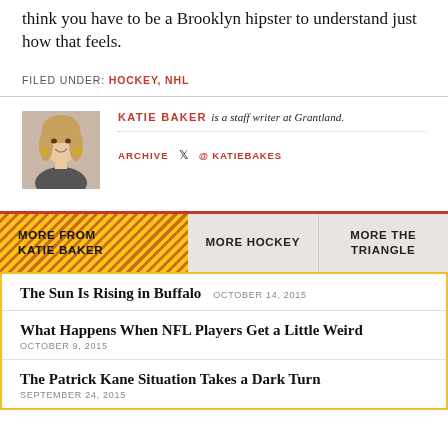think you have to be a Brooklyn hipster to understand just how that feels.
FILED UNDER: HOCKEY, NHL
[Figure (photo): Headshot of Katie Baker, a woman with blonde hair smiling]
KATIE BAKER is a staff writer at Grantland.
ARCHIVE  @ KATIEBAKES
MORE FROM KATIE BAKER
MORE HOCKEY
MORE THE TRIANGLE
The Sun Is Rising in Buffalo  OCTOBER 14, 2015
What Happens When NFL Players Get a Little Weird  OCTOBER 9, 2015
The Patrick Kane Situation Takes a Dark Turn  SEPTEMBER 24, 2015